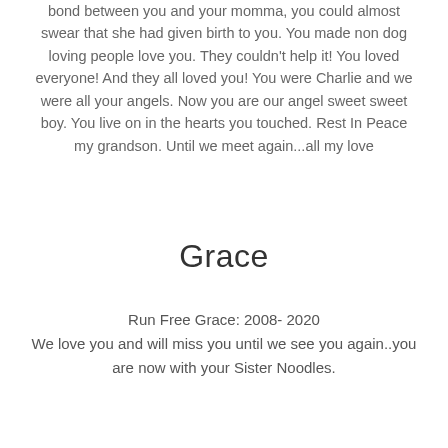bond between you and your momma, you could almost swear that she had given birth to you. You made non dog loving people love you. They couldn't help it! You loved everyone! And they all loved you! You were Charlie and we were all your angels. Now you are our angel sweet sweet boy. You live on in the hearts you touched. Rest In Peace my grandson. Until we meet again...all my love
Grace
Run Free Grace: 2008- 2020
We love you and will miss you until we see you again..you are now with your Sister Noodles.